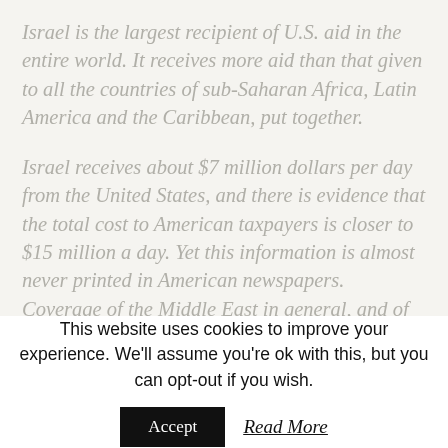Israel is the largest recipient of U.S. aid in the entire world. It receives more aid than that given to all the countries of sub-Saharan Africa, Latin America and the Caribbean, put together.
Israel receives about $7 million dollars per day from the United States, and there is evidence that the total cost to American taxpayers is closer to $15 million a day. Yet this information is almost never printed in American newspapers. Coverage of the Middle East in general, and of Israel in particular, virtually never reports this enormous American connection with this region.
This website uses cookies to improve your experience. We'll assume you're ok with this, but you can opt-out if you wish.
Accept
Read More